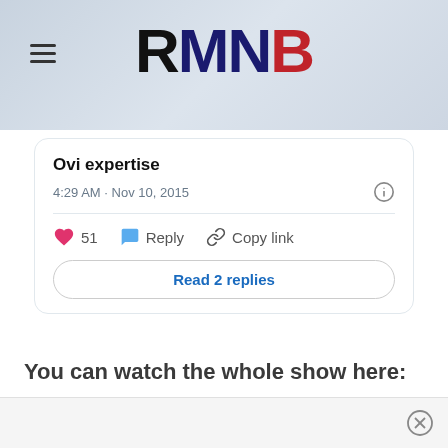RMNB
Ovi expertise
4:29 AM · Nov 10, 2015
51  Reply  Copy link
Read 2 replies
You can watch the whole show here: